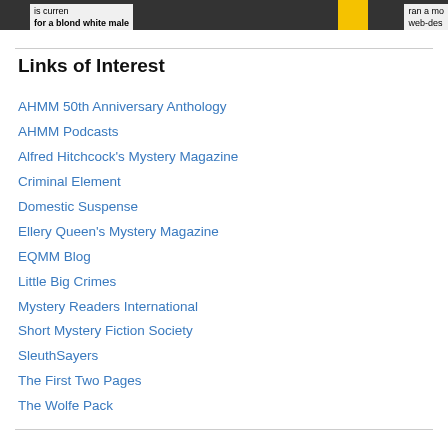[Figure (photo): Partial newspaper/text image strip at top of page showing text 'is currently a blond white male' and 'ran a mo web-des']
Links of Interest
AHMM 50th Anniversary Anthology
AHMM Podcasts
Alfred Hitchcock's Mystery Magazine
Criminal Element
Domestic Suspense
Ellery Queen's Mystery Magazine
EQMM Blog
Little Big Crimes
Mystery Readers International
Short Mystery Fiction Society
SleuthSayers
The First Two Pages
The Wolfe Pack